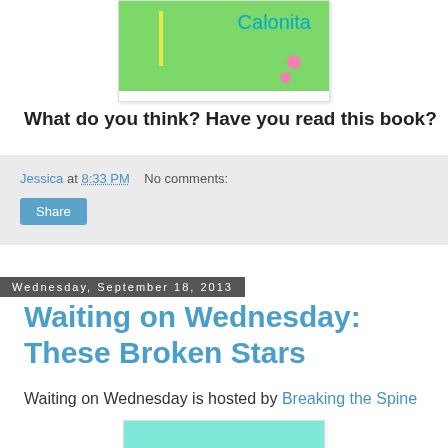[Figure (illustration): Book cover image with green background, yellow vertical line, cursive 'Calonita' text in teal, and pink dots]
What do you think? Have you read this book?
Jessica at 8:33 PM   No comments:
Share
Wednesday, September 18, 2013
Waiting on Wednesday: These Broken Stars
Waiting on Wednesday is hosted by Breaking the Spine
[Figure (illustration): Waiting on Wednesday logo with teal background and pink cursive text 'Waiting on' with a heart]